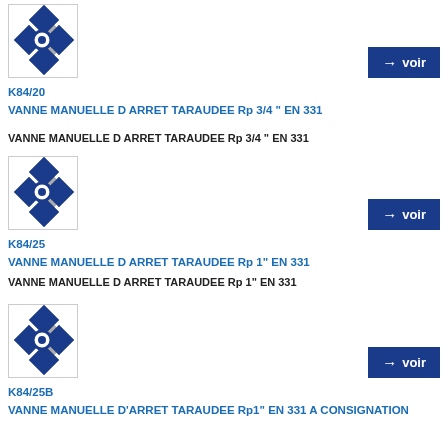[Figure (illustration): Valve product icon - blue and grey diamond/rhombus shape with circular element]
→ voir
K84/20
VANNE MANUELLE D ARRET TARAUDEE Rp 3/4 " EN 331
VANNE MANUELLE D ARRET TARAUDEE Rp 3/4 " EN 331
[Figure (illustration): Valve product icon - blue and grey diamond/rhombus shape with circular element]
→ voir
K84/25
VANNE MANUELLE D ARRET TARAUDEE Rp 1" EN 331
VANNE MANUELLE D ARRET TARAUDEE Rp 1" EN 331
[Figure (illustration): Valve product icon - blue and grey diamond/rhombus shape with circular element]
→ voir
K84/25B
VANNE MANUELLE D'ARRET TARAUDEE Rp1" EN 331 A CONSIGNATION